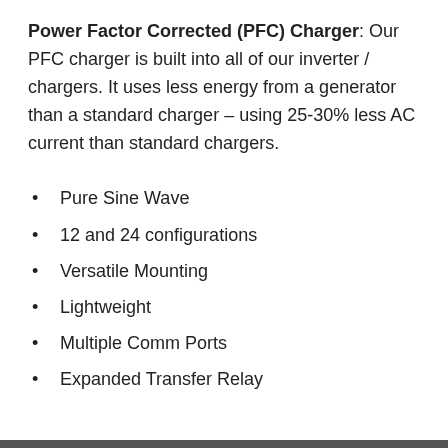Power Factor Corrected (PFC) Charger: Our PFC charger is built into all of our inverter / chargers. It uses less energy from a generator than a standard charger – using 25-30% less AC current than standard chargers.
Pure Sine Wave
12 and 24 configurations
Versatile Mounting
Lightweight
Multiple Comm Ports
Expanded Transfer Relay